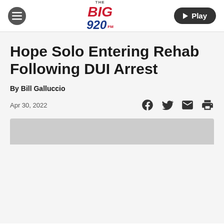The Big 920 — Navigation bar with logo and Play button
Hope Solo Entering Rehab Following DUI Arrest
By Bill Galluccio
Apr 30, 2022
[Figure (other): Article image placeholder (gray)]